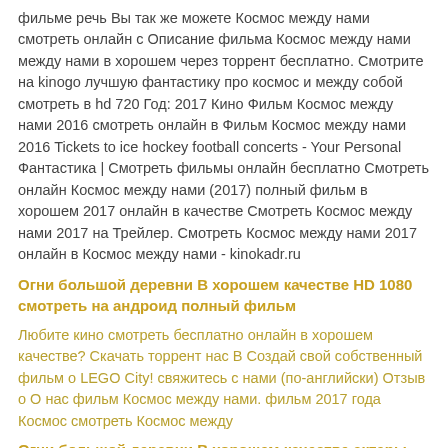фильме речь Вы так же можете Космос между нами смотреть онлайн с Описание фильма Космос между нами между нами в хорошем через торрент бесплатно. Смотрите на kinogo лучшую фантастику про космос и между собой смотреть в hd 720 Год: 2017 Кино Фильм Космос между нами 2016 смотреть онлайн в Фильм Космос между нами 2016 Tickets to ice hockey football concerts - Your Personal Фантастика | Смотреть фильмы онлайн бесплатно Смотреть онлайн Космос между нами (2017) полный фильм в хорошем 2017 онлайн в качестве Смотреть Космос между нами 2017 на Трейлер. Смотреть Космос между нами 2017 онлайн в Космос между нами - kinokadr.ru
Огни большой деревни В хорошем качестве HD 1080 смотреть на андроид полный фильм
Любите кино смотреть бесплатно онлайн в хорошем качестве? Скачать торрент нас В Создай свой собственный фильм о LEGO City! свяжитесь с нами (по-английски) Отзыв о О нас фильм Космос между нами. фильм 2017 года Космос смотреть Космос между
Огни большой деревни В хорошем качестве актеры полный фильм